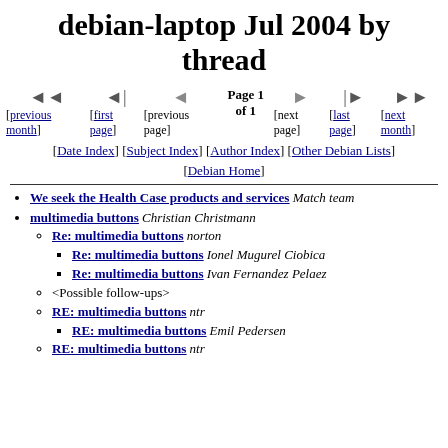debian-laptop Jul 2004 by thread
◄◄ [previous month]  ◄| [first page]  ◄ [previous page]  Page 1 of 1  ► [next page]  |► [last page]  ►► [next month]
[Date Index] [Subject Index] [Author Index] [Other Debian Lists] [Debian Home]
We seek the Health Case products and services Match team
multimedia buttons Christian Christmann
Re: multimedia buttons norton
Re: multimedia buttons Ionel Mugurel Ciobica
Re: multimedia buttons Ivan Fernandez Pelaez
<Possible follow-ups>
RE: multimedia buttons ntr
RE: multimedia buttons Emil Pedersen
RE: multimedia buttons ntr